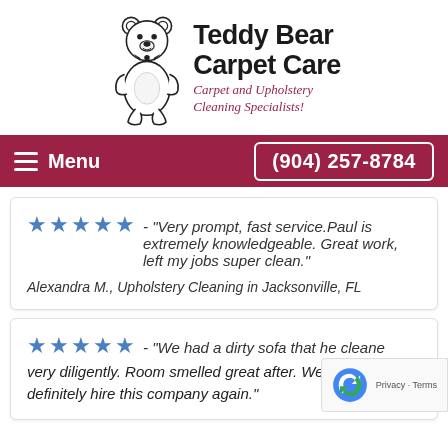[Figure (logo): Teddy Bear Carpet Care logo with a cartoon bear illustration on the left and company name text on the right. Main title in bold black: 'Teddy Bear Carpet Care'. Subtitle in dark red italic cursive: 'Carpet and Upholstery Cleaning Specialists!']
Menu   (904) 257-8784
★★★★★ - "Very prompt, fast service.Paul is extremely knowledgeable. Great work, left my jobs super clean."
Alexandra M., Upholstery Cleaning in Jacksonville, FL
★★★★★ - "We had a dirty sofa that he cleaned very diligently. Room smelled great after. We will definitely hire this company again."